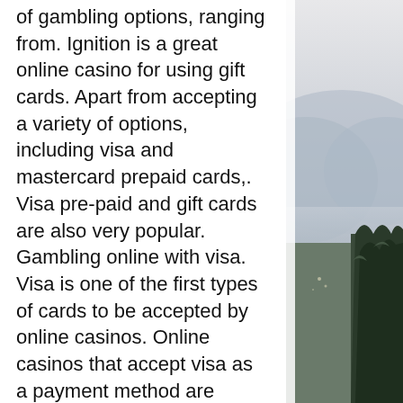of gambling options, ranging from. Ignition is a great online casino for using gift cards. Apart from accepting a variety of options, including visa and mastercard prepaid cards,. Visa pre-paid and gift cards are also very popular. Gambling online with visa. Visa is one of the first types of cards to be accepted by online casinos. Online casinos that accept visa as a payment method are among the most popular with us gamblers. At a visa casino, you can enjoy fast and. Prepaid card – if you don't want to use your credit card or the card where you get your paycheck, you can opt for the prepaid visa card online casino banking. They're accessible (anyone who has a bank or credit union account can get one), every online casino accepts them, and they have high acceptance rates for all. Prepaid visa card deposits. Visa prepaid debit card deposit if a casino advertises that they accept visa
[Figure (photo): A partially visible outdoor photograph showing a misty or foggy landscape with trees and hills, taken from an elevated vantage point. The image appears on the right side of the page.]